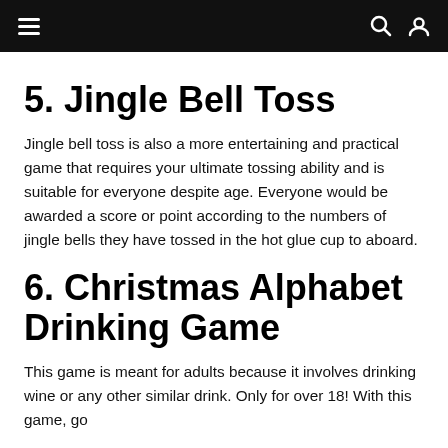≡  🔍 👤
5. Jingle Bell Toss
Jingle bell toss is also a more entertaining and practical game that requires your ultimate tossing ability and is suitable for everyone despite age. Everyone would be awarded a score or point according to the numbers of jingle bells they have tossed in the hot glue cup to aboard.
6. Christmas Alphabet Drinking Game
This game is meant for adults because it involves drinking wine or any other similar drink. Only for over 18! With this game, go